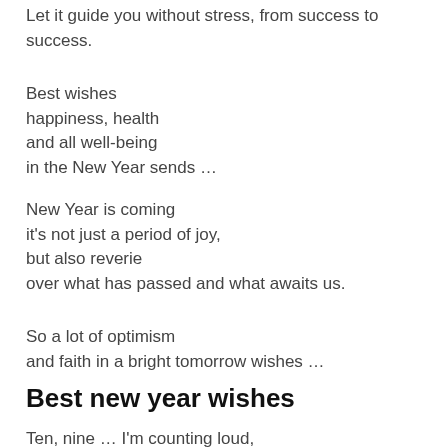Let it guide you without stress, from success to success.
Best wishes
happiness, health
and all well-being
in the New Year sends …
New Year is coming
it's not just a period of joy,
but also reverie
over what has passed and what awaits us.
So a lot of optimism
and faith in a bright tomorrow wishes …
Best new year wishes
Ten, nine … I'm counting loud,